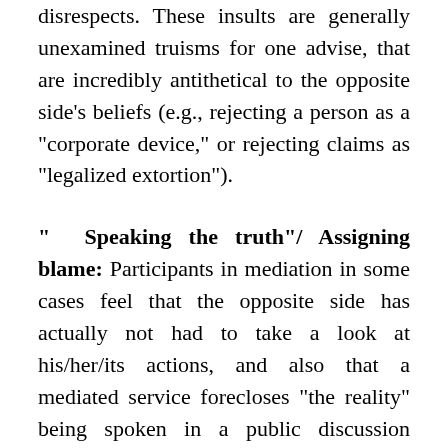disrespects. These insults are generally unexamined truisms for one advise, that are incredibly antithetical to the opposite side's beliefs (e.g., rejecting a person as a "corporate device," or rejecting claims as "legalized extortion").
" Speaking the truth"/ Assigning blame: Participants in mediation in some cases feel that the opposite side has actually not had to take a look at his/her/its actions, and also that a mediated service forecloses "the reality" being spoken in a public discussion forum. As an outcome, they feel compelled to talk "the fact" in mediation. Parties even pick one of the most